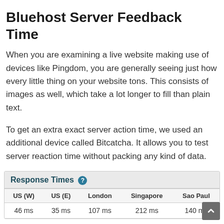Bluehost Server Feedback Time
When you are examining a live website making use of devices like Pingdom, you are generally seeing just how every little thing on your website tons. This consists of images as well, which take a lot longer to fill than plain text.
To get an extra exact server action time, we used an additional device called Bitcatcha. It allows you to test server reaction time without packing any kind of data.
| US (W) | US (E) | London | Singapore | Sao Paul |
| --- | --- | --- | --- | --- |
| 46 ms | 35 ms | 107 ms | 212 ms | 140 ms |